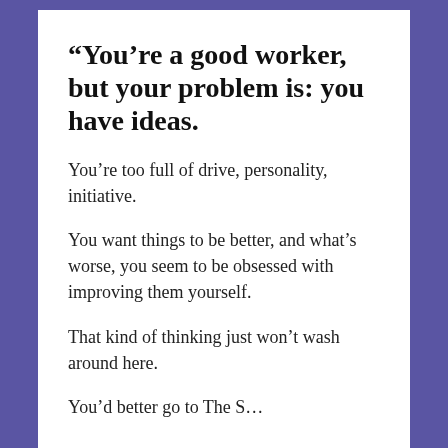“You’re a good worker, but your problem is: you have ideas.
You’re too full of drive, personality, initiative.
You want things to be better, and what’s worse, you seem to be obsessed with improving them yourself.
That kind of thinking just won’t wash around here.
You'd better go to The S...